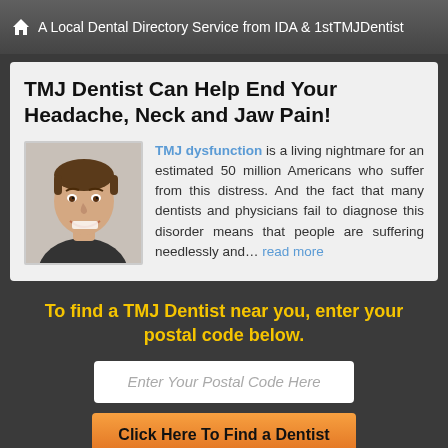A Local Dental Directory Service from IDA & 1stTMJDentist
TMJ Dentist Can Help End Your Headache, Neck and Jaw Pain!
[Figure (photo): Smiling young man, portrait photo for dental article]
TMJ dysfunction is a living nightmare for an estimated 50 million Americans who suffer from this distress. And the fact that many dentists and physicians fail to diagnose this disorder means that people are suffering needlessly and... read more
To find a TMJ Dentist near you, enter your postal code below.
Enter Your Postal Code Here
Click Here To Find a Dentist